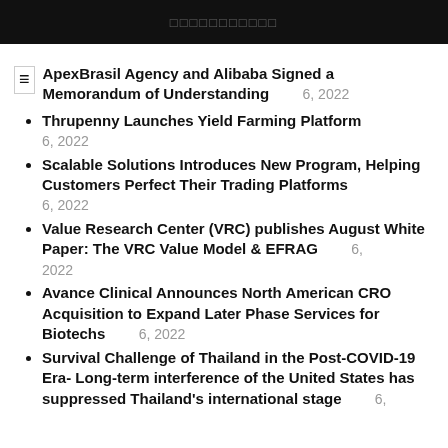□□□□□□□□□□□
ApexBrasil Agency and Alibaba Signed a Memorandum of Understanding   6, 2022
Thrupenny Launches Yield Farming Platform   6, 2022
Scalable Solutions Introduces New Program, Helping Customers Perfect Their Trading Platforms   6, 2022
Value Research Center (VRC) publishes August White Paper: The VRC Value Model & EFRAG   6, 2022
Avance Clinical Announces North American CRO Acquisition to Expand Later Phase Services for Biotechs   6, 2022
Survival Challenge of Thailand in the Post-COVID-19 Era- Long-term interference of the United States has suppressed Thailand's international stage   6,